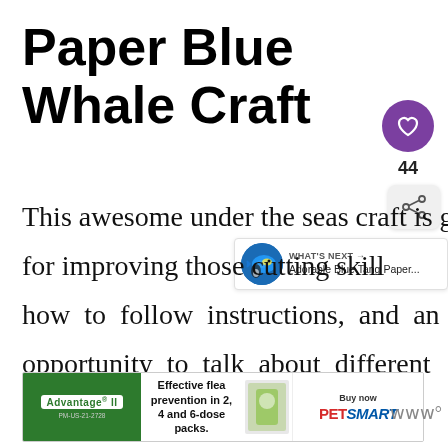Paper Blue Whale Craft
[Figure (illustration): Purple circular heart/favorite button icon]
44
[Figure (illustration): Share button icon]
[Figure (illustration): WHAT'S NEXT arrow - Adorable Blue Tang Paper...]
This awesome under the seas craft is great for improving those cutting skills, how to follow instructions, and an opportunity to talk about different creatures that live in the ocean.
[Figure (illustration): Advertisement banner: Advantage II flea prevention, Effective flea prevention in 2, 4 and 6-dose packs. PetSmart buy now.]